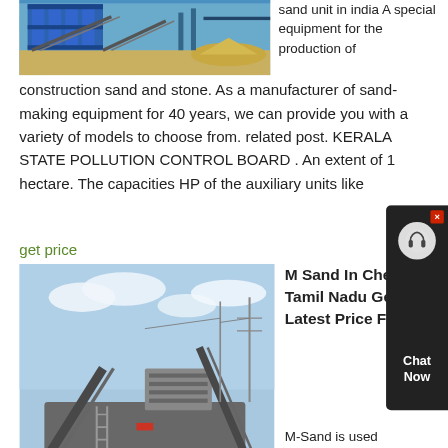[Figure (photo): Industrial sand/gravel processing machinery with blue steel framework, conveyor belts, and sand on the ground]
sand unit in india A special equipment for the production of construction sand and stone. As a manufacturer of sand-making equipment for 40 years, we can provide you with a variety of models to choose from. related post. KERALA STATE POLLUTION CONTROL BOARD . An extent of 1 hectare. The capacities HP of the auxiliary units like
get price
[Figure (photo): Mobile crushing and screening plant equipment on a construction/mining site with cloudy sky background]
M Sand In Chennai, Tamil Nadu Get Latest Price From
M-Sand is used construction for building and concrete works Srinsagar Chamber Bricks Chennai No. 254/2D, Kempatti Village Belagondapalli Post, Denkanikotta TK Hosur, Chennai